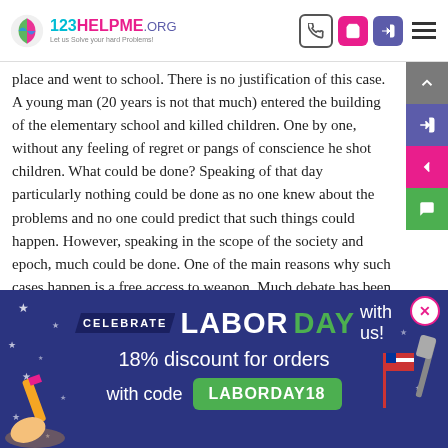123HELPME.ORG — Let us Solve your hard Problems!
place and went to school. There is no justification of this case. A young man (20 years is not that much) entered the building of the elementary school and killed children. One by one, without any feeling of regret or pangs of conscience he shot children. What could be done? Speaking of that day particularly nothing could be done as no one knew about the problems and no one could predict that such things could happen. However, speaking in the scope of the society and epoch, much could be done. One of the main reasons why such cases happen is a free access to weapon. Much debate has been around this issue. Some people
[Figure (infographic): Labor Day promotional banner: 'CELEBRATE LABOR DAY with us! 18% discount for orders with code LABORDAY18']